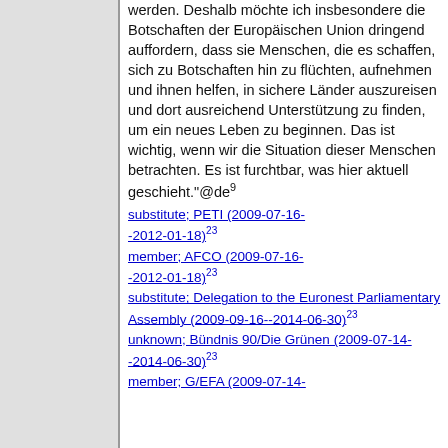werden. Deshalb möchte ich insbesondere die Botschaften der Europäischen Union dringend auffordern, dass sie Menschen, die es schaffen, sich zu Botschaften hin zu flüchten, aufnehmen und ihnen helfen, in sichere Länder auszureisen und dort ausreichend Unterstützung zu finden, um ein neues Leben zu beginnen. Das ist wichtig, wenn wir die Situation dieser Menschen betrachten. Es ist furchtbar, was hier aktuell geschieht."@de⁹
substitute; PETI (2009-07-16--2012-01-18)²³
member; AFCO (2009-07-16--2012-01-18)²³
substitute; Delegation to the Euronest Parliamentary Assembly (2009-09-16--2014-06-30)²³
unknown; Bündnis 90/Die Grünen (2009-07-14--2014-06-30)²³
member; G/EFA (2009-07-14-...